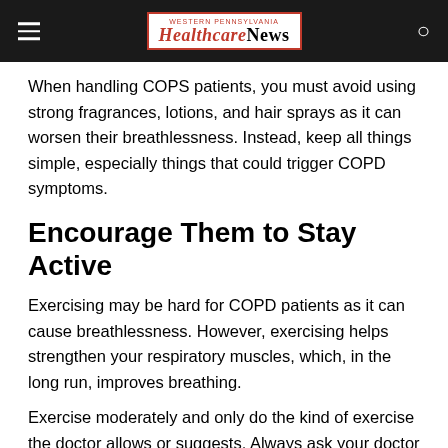Western Pennsylvania Healthcare News
When handling COPS patients, you must avoid using strong fragrances, lotions, and hair sprays as it can worsen their breathlessness. Instead, keep all things simple, especially things that could trigger COPD symptoms.
Encourage Them to Stay Active
Exercising may be hard for COPD patients as it can cause breathlessness. However, exercising helps strengthen your respiratory muscles, which, in the long run, improves breathing.
Exercise moderately and only do the kind of exercise the doctor allows or suggests. Always ask your doctor first if you want to engage your patient in exercising.